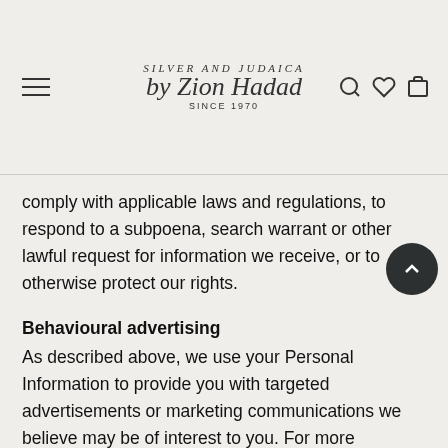Silver and Judaica by Zion Hadad Since 1970
comply with applicable laws and regulations, to respond to a subpoena, search warrant or other lawful request for information we receive, or to otherwise protect our rights.
Behavioural advertising
As described above, we use your Personal Information to provide you with targeted advertisements or marketing communications we believe may be of interest to you. For more information about how targeted advertising works, you can visit the Network Advertising Initiative's ("NAI") educational page at http://www.networkadvertising.org/understanding-